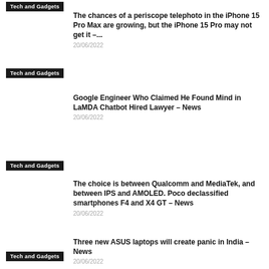Tech and Gadgets
The chances of a periscope telephoto in the iPhone 15 Pro Max are growing, but the iPhone 15 Pro may not get it –...
20/06/2022
Tech and Gadgets
Google Engineer Who Claimed He Found Mind in LaMDA Chatbot Hired Lawyer – News
20/06/2022
Tech and Gadgets
The choice is between Qualcomm and MediaTek, and between IPS and AMOLED. Poco declassified smartphones F4 and X4 GT – News
20/06/2022
Tech and Gadgets
Three new ASUS laptops will create panic in India – News
20/06/2022